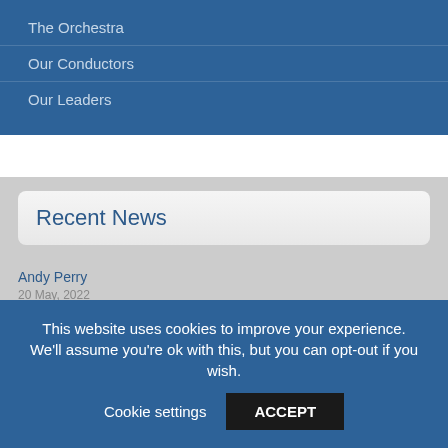The Orchestra
Our Conductors
Our Leaders
Recent News
Andy Perry
20 May, 2022
Anne Hagyard 1958-2021
30 January, 2022
New/old concert programmes
This website uses cookies to improve your experience. We'll assume you're ok with this, but you can opt-out if you wish.
Cookie settings
ACCEPT